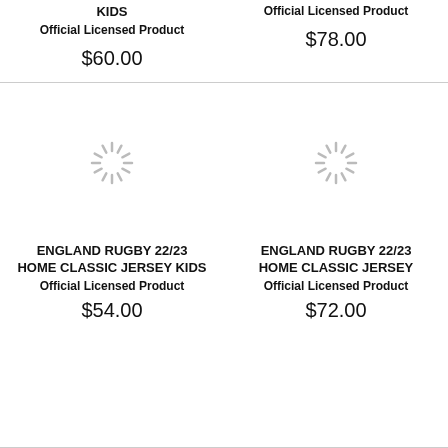KIDS
Official Licensed Product
$60.00
Official Licensed Product
$78.00
[Figure (other): Loading spinner icon (gray radial lines)]
[Figure (other): Loading spinner icon (gray radial lines)]
ENGLAND RUGBY 22/23 HOME CLASSIC JERSEY KIDS
Official Licensed Product
$54.00
ENGLAND RUGBY 22/23 HOME CLASSIC JERSEY
Official Licensed Product
$72.00